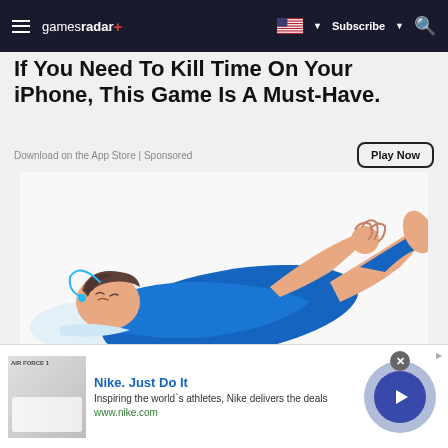gamesradar+ | Subscribe | Search
If You Need To Kill Time On Your iPhone, This Game Is A Must-Have.
Download on the App Store | Sponsored
[Figure (illustration): Illustration of a person in blue clothing lying down, reaching upward with one hand, feet raised, appearing tired or bored, on a light background.]
Nike. Just Do It
Inspiring the world`s athletes, Nike delivers the deals
www.nike.com